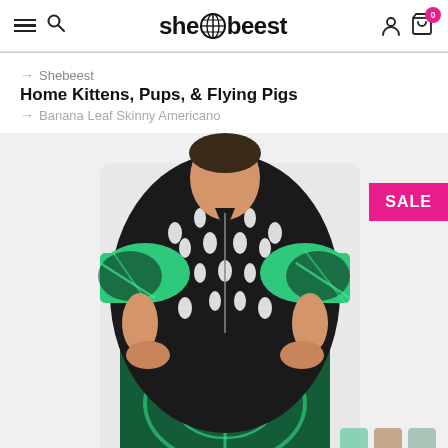shebeest — navigation header with menu, search, user, and cart icons
→ Shebeest
Home Kittens, Pups, & Flying Pigs
→ Banana Leaf Skinny Americano
[Figure (photo): Woman wearing a black and white patterned short-sleeve cycling jersey with green tropical print cycling tights, hands on hips, white background. A SALE badge is displayed in pink at the upper right.]